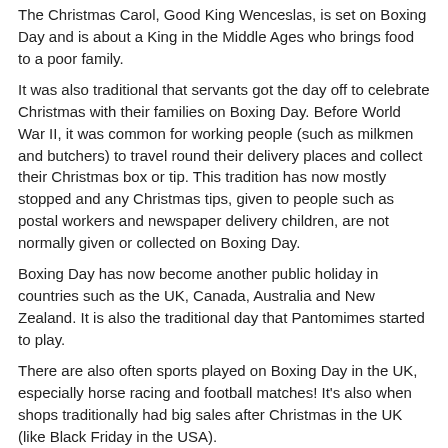The Christmas Carol, Good King Wenceslas, is set on Boxing Day and is about a King in the Middle Ages who brings food to a poor family.
It was also traditional that servants got the day off to celebrate Christmas with their families on Boxing Day. Before World War II, it was common for working people (such as milkmen and butchers) to travel round their delivery places and collect their Christmas box or tip. This tradition has now mostly stopped and any Christmas tips, given to people such as postal workers and newspaper delivery children, are not normally given or collected on Boxing Day.
Boxing Day has now become another public holiday in countries such as the UK, Canada, Australia and New Zealand. It is also the traditional day that Pantomimes started to play.
There are also often sports played on Boxing Day in the UK, especially horse racing and football matches! It's also when shops traditionally had big sales after Christmas in the UK (like Black Friday in the USA).